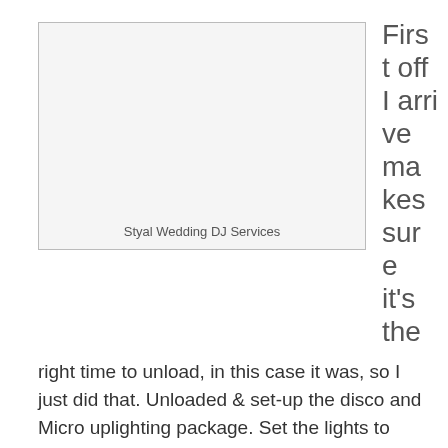[Figure (photo): Image placeholder showing 'Styal Wedding DJ Services' caption below a photo area]
Styal Wedding DJ Services
First off I arrive makes sure it's the right time to unload, in this case it was, so I just did that. Unloaded & set-up the disco and Micro uplighting package. Set the lights to blue to colour co-ordinate with the wedding colour theme. Once done, I introduced myself to the photographer and venue staff to let them know I was here, what I was doing and when etc. I then took over the background music from the in-house system, so I was in full control of